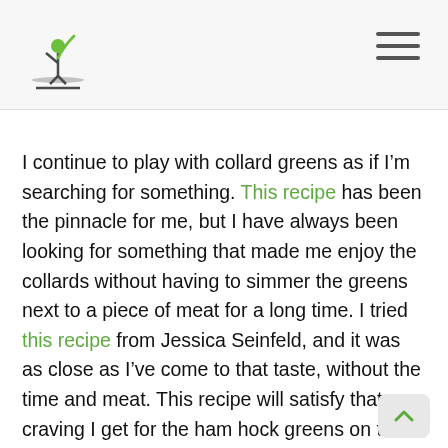Logo and navigation header
I continue to play with collard greens as if I’m searching for something. This recipe has been the pinnacle for me, but I have always been looking for something that made me enjoy the collards without having to simmer the greens next to a piece of meat for a long time. I tried this recipe from Jessica Seinfeld, and it was as close as I’ve come to that taste, without the time and meat. This recipe will satisfy that craving I get for the ham hock greens on the days when the ham hocks run out at the farm stand.